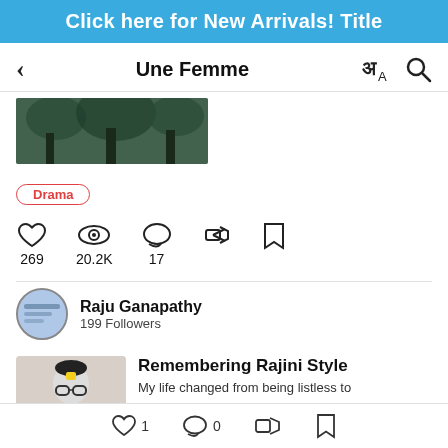Click here for New Arrivals! Title
Une Femme
[Figure (photo): Partial cover image of a book or content piece, showing a dark nature/forest scene]
Drama
269  20.2K  17
Raju Ganapathy
199 Followers
[Figure (photo): Thumbnail photo of a person wearing glasses with a yellow sticker on forehead]
Remembering Rajini Style
My life changed from being listless to
1  0